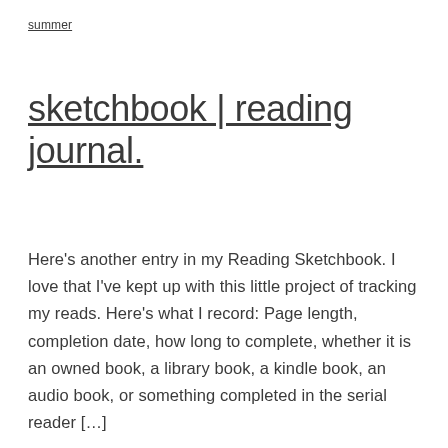summer
sketchbook | reading journal.
Here’s another entry in my Reading Sketchbook. I love that I’ve kept up with this little project of tracking my reads. Here’s what I record: Page length, completion date, how long to complete, whether it is an owned book, a library book, a kindle book, an audio book, or something completed in the serial reader […]